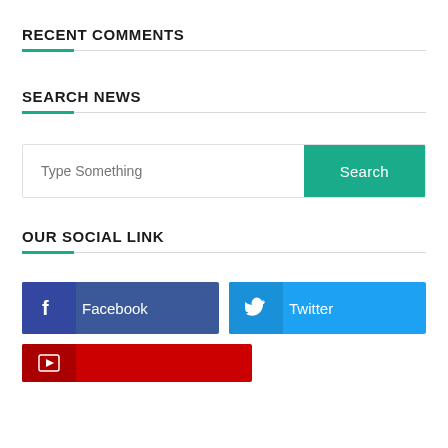RECENT COMMENTS
SEARCH NEWS
Type Something [search input] Search [button]
OUR SOCIAL LINK
Facebook  Twitter  [social buttons]